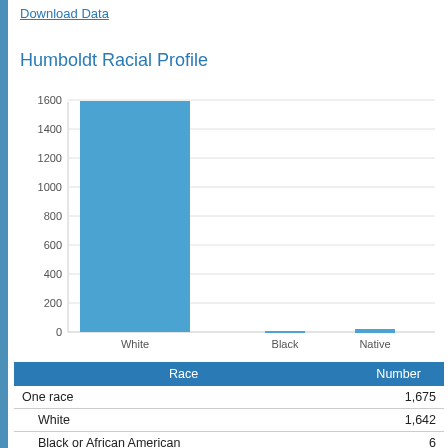Download Data
Humboldt Racial Profile
[Figure (bar-chart): Humboldt Racial Profile]
| Race | Number |
| --- | --- |
| One race | 1,675 |
| White | 1,642 |
| Black or African American | 6 |
| American Indian and Alaska Native | 24 |